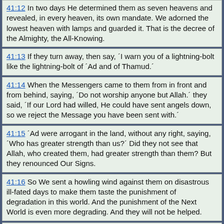41:12 In two days He determined them as seven heavens and revealed, in every heaven, its own mandate. We adorned the lowest heaven with lamps and guarded it. That is the decree of the Almighty, the All-Knowing.
41:13 If they turn away, then say, ʹI warn you of a lightning-bolt like the lightning-bolt of ʹAd and of Thamud.ʹ
41:14 When the Messengers came to them from in front and from behind, saying, ʹDo not worship anyone but Allah.ʹ they said, ʹIf our Lord had willed, He could have sent angels down, so we reject the Message you have been sent with.ʹ
41:15 ʹAd were arrogant in the land, without any right, saying, ʹWho has greater strength than us?ʹ Did they not see that Allah, who created them, had greater strength than them? But they renounced Our Signs.
41:16 So We sent a howling wind against them on disastrous ill-fated days to make them taste the punishment of degradation in this world. And the punishment of the Next World is even more degrading. And they will not be helped.
41:17 As for Thamud, We guided them, but they preferred blindness to guidance. So the lightning-bolt of the punishment of humiliation seized them on account of what they earned.
41:18 And We rescued those who had iman and taqwa.